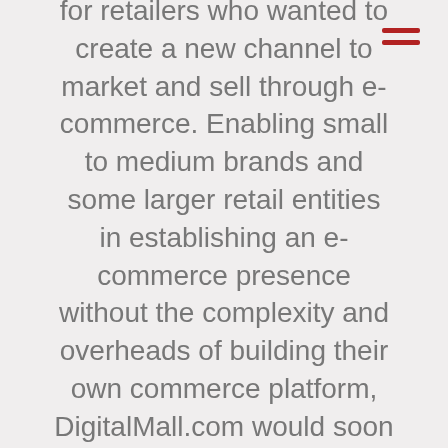for retailers who wanted to create a new channel to market and sell through e-commerce. Enabling small to medium brands and some larger retail entities in establishing an e-commerce presence without the complexity and overheads of building their own commerce platform, DigitalMall.com would soon go on to create an eCommerce presence for some of South Africa's most